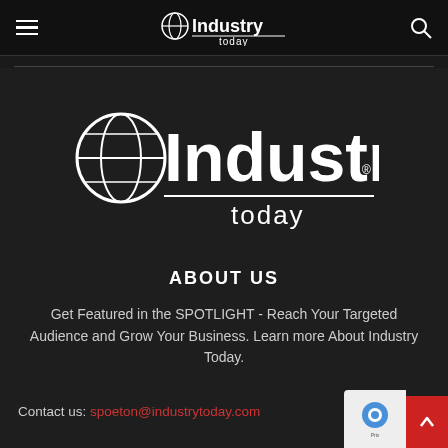Industry Today - Navigation bar with hamburger menu, logo, and search icon
[Figure (logo): Industry Today logo - large white text with globe icon on dark background]
ABOUT US
Get Featured in the SPOTLIGHT - Reach Your Targeted Audience and Grow Your Business. Learn more About Industry Today.
Contact us: spoeton@industrytoday.com